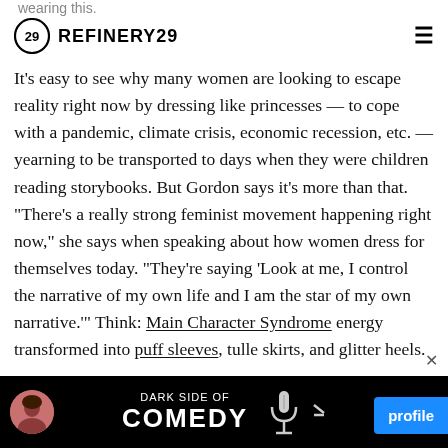wearing this.
[Figure (logo): Refinery29 logo with circular R29 icon and bold REFINERY29 text, plus hamburger menu icon on right]
It’s easy to see why many women are looking to escape reality right now by dressing like princesses — to cope with a pandemic, climate crisis, economic recession, etc. — yearning to be transported to days when they were children reading storybooks. But Gordon says it’s more than that. “There’s a really strong feminist movement happening right now,” she says when speaking about how women dress for themselves today. “They’re saying ‘Look at me, I control the narrative of my own life and I am the star of my own narrative.’” Think: Main Character Syndrome energy transformed into puff sleeves, tulle skirts, and glitter heels.
[Figure (screenshot): Dark Side of Comedy advertisement banner at bottom of page, with profile button on right and user avatar on left]